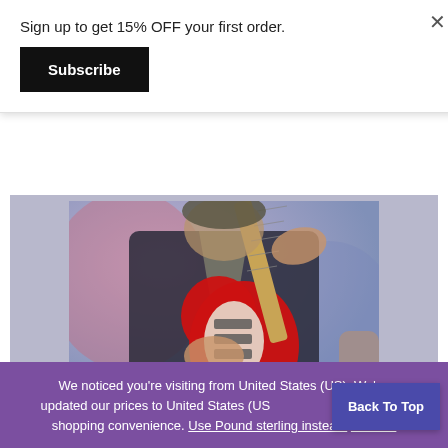Sign up to get 15% OFF your first order.
Subscribe
[Figure (photo): A musician playing a red Fender Stratocaster electric guitar on stage, wearing a dark jacket. The background shows blurred stage lighting with red and blue tones.]
This website uses cookies to improve your experience.
We noticed you're visiting from United States (US). We've updated our prices to United States (US) shopping convenience. Use Pound sterling instead. Dismiss
Back To Top